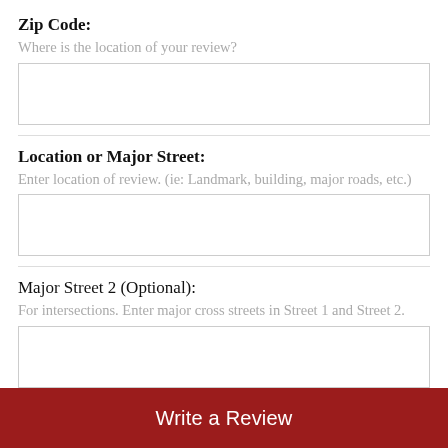Zip Code:
Where is the location of your review?
[Figure (other): Empty text input box for Zip Code]
Location or Major Street:
Enter location of review. (ie: Landmark, building, major roads, etc.)
[Figure (other): Empty text input box for Location or Major Street]
Major Street 2 (Optional):
For intersections. Enter major cross streets in Street 1 and Street 2.
[Figure (other): Empty text input box for Major Street 2]
Write a Review